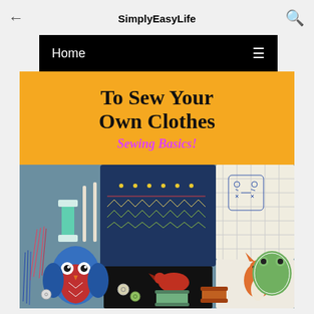SimplyEasyLife
[Figure (screenshot): Website navigation header showing SimplyEasyLife site title, back arrow on left, search icon on right, and black navigation bar with Home and hamburger menu]
[Figure (illustration): Hero image for sewing article: orange/yellow banner with text 'To Sew Your Own Clothes' and pink italic 'Sewing Basics!' subtitle above a photo of sewing and embroidery crafts including thread spools, fabric samples with cross-stitch patterns, stuffed animal owls, buttons, and embroidery floss]